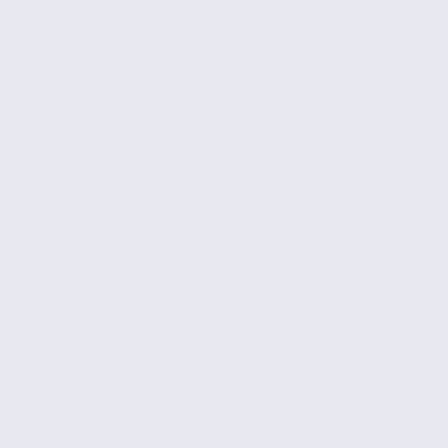class= listingBuyNowButton /></a><br /><br /></div> <div class="centerBoxContentsProducts centeredContent back" style="width:32.5%;"><a href="http://www.omegadeville.cn/da speedmaster-31130445001001-m%C3%A6nds-mekanisk-ur-p-4 style="vertical-align: middle;height:180px"><img src="http://www.omegadeville.cn/da/images/_small//watches_f Speedmaster-311-30-44-50-01-001-men-s.jpg" alt="Omega - Sp 311.30.44.50.01.001 mÃ¦nds mekanisk ur" title=" Omega - Spe 311.30.44.50.01.001 mÃ¦nds mekanisk ur " width="180" height class="listingProductImage" id="listimg" /></div></a><br /><h class="itemTitle"><a href="http://www.omegadeville.cn/da/om 31130445001001-m%C3%A6nds-mekanisk-ur-p-469.html">Om 311.30.44.50.01.001 mÃ¦nds mekanisk ur</a></h3><div class="listingDescription">SeriesSpeedmaster Indsamling MÃ¦ </div><br /><span class="normalprice">DKK 86,508 </span>& class="productSpecialPrice">DKK 1,517</span><span class="productPriceDiscount"><br />Spar:&nbsp;98% off</spa href="http://www.omegadeville.cn/da/omega-speedmaster-c-14 products_id=469&action=buy_now&sort=20a"><img src="http://www.omegadeville.cn/da/includes/templates/dresses alt="Buy Now" title=" Buy Now " width="83" height="22" class="listingBuyNowButton" /></a><br /><br /></div> <div class="centerBoxContentsProducts centeredContent back" style="width:32.5%;"><a href="http://www.omegadeville.cn/da speedmaster-31130445101001-m%C3%A6nds-mekanisk-ur-p-5 style="vertical-align: middle;height:180px"><img